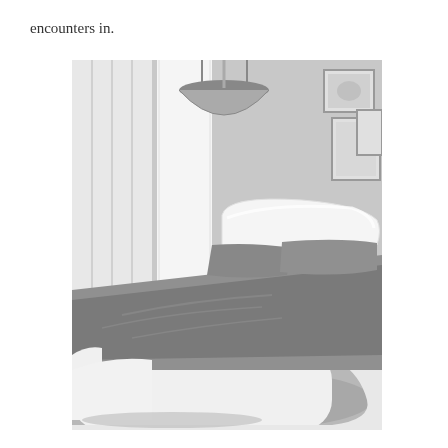encounters in.
[Figure (photo): A modern bedroom scene in grayscale/muted tones showing a white leather platform bed with curved edges, gray bedding and pillows, a gray pendant lamp above, white wardrobe/curtains in the background, and framed artwork on the right wall. A gray area rug is on the floor.]